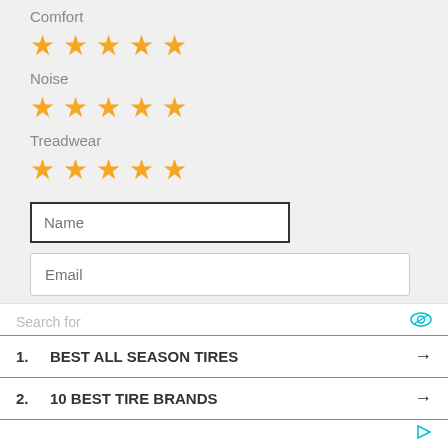Comfort
[Figure (infographic): Five filled gold/orange stars rating for Comfort]
Noise
[Figure (infographic): Five filled gold/orange stars rating for Noise]
Treadwear
[Figure (infographic): Five filled gold/orange stars rating for Treadwear]
Name
Email
Describe your review
Search for
1. BEST ALL SEASON TIRES
2. 10 BEST TIRE BRANDS